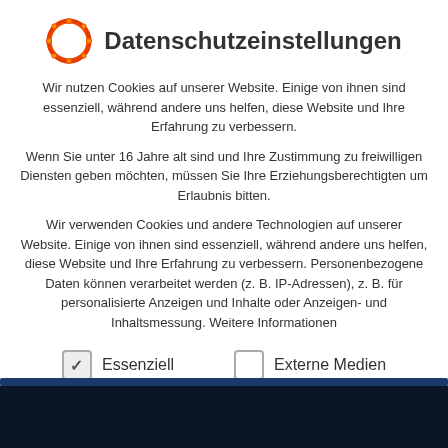Datenschutzeinstellungen
Wir nutzen Cookies auf unserer Website. Einige von ihnen sind essenziell, während andere uns helfen, diese Website und Ihre Erfahrung zu verbessern.
Wenn Sie unter 16 Jahre alt sind und Ihre Zustimmung zu freiwilligen Diensten geben möchten, müssen Sie Ihre Erziehungsberechtigten um Erlaubnis bitten.
Wir verwenden Cookies und andere Technologien auf unserer Website. Einige von ihnen sind essenziell, während andere uns helfen, diese Website und Ihre Erfahrung zu verbessern. Personenbezogene Daten können verarbeitet werden (z. B. IP-Adressen), z. B. für personalisierte Anzeigen und Inhalte oder Anzeigen- und Inhaltsmessung. Weitere Informationen
Essenziell
Externe Medien